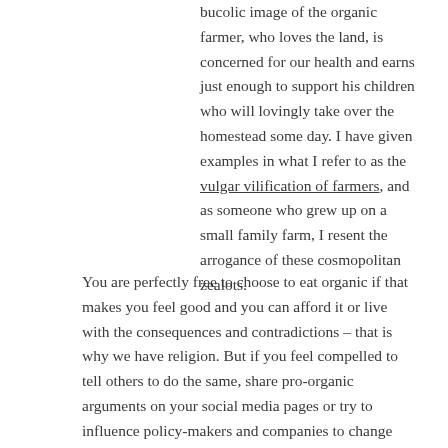bucolic image of the organic farmer, who loves the land, is concerned for our health and earns just enough to support his children who will lovingly take over the homestead some day. I have given examples in what I refer to as the vulgar vilification of farmers, and as someone who grew up on a small family farm, I resent the arrogance of these cosmopolitan zealots.
You are perfectly free to choose to eat organic if that makes you feel good and you can afford it or live with the consequences and contradictions – that is why we have religion. But if you feel compelled to tell others to do the same, share pro-organic arguments on your social media pages or try to influence policy-makers and companies to change widespread behaviour